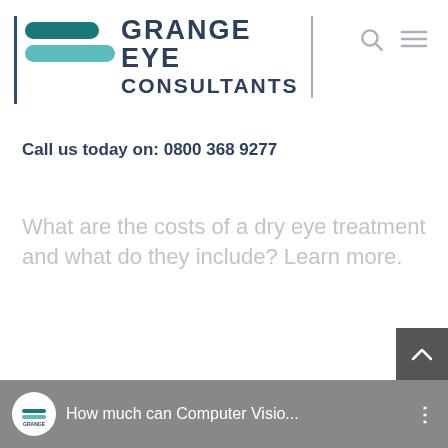[Figure (logo): Grange Eye Consultants logo with two teal pill shapes and dark navy text reading GRANGE EYE CONSULTANTS]
Call us today on: 0800 368 9277
What are the costs of a dry eye treatment and what do they include? Learn more.
[Figure (screenshot): Bottom video strip showing Grange Eye Consultants logo circle and video title 'How much can Computer Visio...' on a grey background]